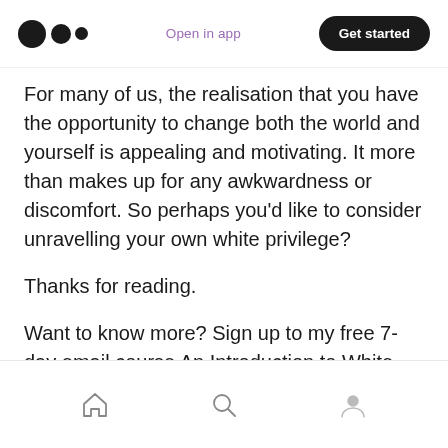Open in app | Get started
For many of us, the realisation that you have the opportunity to change both the world and yourself is appealing and motivating. It more than makes up for any awkwardness or discomfort. So perhaps you'd like to consider unravelling your own white privilege?
Thanks for reading.
Want to know more? Sign up to my free 7-day email course An Introduction to White Privilege
Navigation icons: home, search, profile